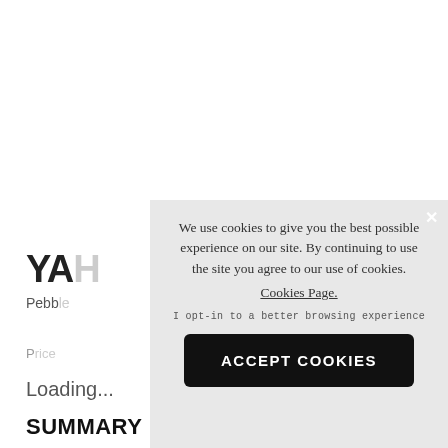YA
Pebb
P
Loading...
SUMMARY
[Figure (screenshot): Cookie consent modal overlay with text: 'We use cookies to give you the best possible experience on our site. By continuing to use the site you agree to our use of cookies. Cookies Page. I opt-in to a better browsing experience' and an ACCEPT COOKIES button, with an X close button in the top right corner.]